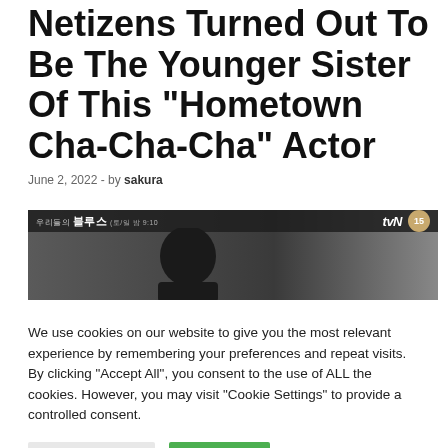Netizens Turned Out To Be The Younger Sister Of This “Hometown Cha-Cha-Cha” Actor
June 2, 2022  -  by sakura
[Figure (screenshot): TV screenshot from tvN drama with Korean text overlay showing rating 15]
We use cookies on our website to give you the most relevant experience by remembering your preferences and repeat visits. By clicking “Accept All”, you consent to the use of ALL the cookies. However, you may visit "Cookie Settings" to provide a controlled consent.